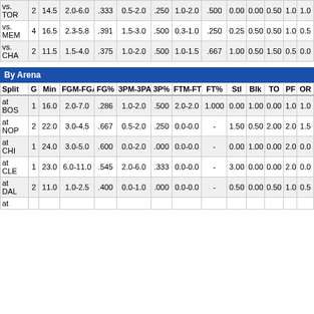| Split | G | Min | FGM-FGA | FG% | 3PM-3PA | 3P% | FTM-FTA | FT% | Stl | Blk | TO | PF | OR |
| --- | --- | --- | --- | --- | --- | --- | --- | --- | --- | --- | --- | --- | --- |
| vs. TOR | 2 | 14.5 | 2.0-6.0 | .333 | 0.5-2.0 | .250 | 1.0-2.0 | .500 | 0.00 | 0.00 | 0.50 | 1.0 | 1.0 |
| vs. MEM | 4 | 16.5 | 2.3-5.8 | .391 | 1.5-3.0 | .500 | 0.3-1.0 | .250 | 0.25 | 0.50 | 0.50 | 1.0 | 0.5 |
| vs. CHA | 2 | 11.5 | 1.5-4.0 | .375 | 1.0-2.0 | .500 | 1.0-1.5 | .667 | 1.00 | 0.50 | 1.50 | 0.5 | 0.0 |
By Arena
| Split | G | Min | FGM-FGA | FG% | 3PM-3PA | 3P% | FTM-FTA | FT% | Stl | Blk | TO | PF | OR |
| --- | --- | --- | --- | --- | --- | --- | --- | --- | --- | --- | --- | --- | --- |
| at BOS | 1 | 16.0 | 2.0-7.0 | .286 | 1.0-2.0 | .500 | 2.0-2.0 | 1.000 | 0.00 | 1.00 | 0.00 | 1.0 | 1.0 |
| at NOP | 2 | 22.0 | 3.0-4.5 | .667 | 0.5-2.0 | .250 | 0.0-0.0 | - | 1.50 | 0.50 | 2.00 | 2.0 | 1.5 |
| at CHI | 1 | 24.0 | 3.0-5.0 | .600 | 0.0-2.0 | .000 | 0.0-0.0 | - | 0.00 | 1.00 | 0.00 | 2.0 | 0.0 |
| at CLE | 1 | 23.0 | 6.0-11.0 | .545 | 2.0-6.0 | .333 | 0.0-0.0 | - | 3.00 | 0.00 | 0.00 | 2.0 | 0.0 |
| at DAL | 2 | 11.0 | 1.0-2.5 | .400 | 0.0-1.0 | .000 | 0.0-0.0 | - | 0.50 | 0.00 | 0.50 | 1.0 | 0.5 |
| at |  |  |  |  |  |  |  |  |  |  |  |  |  |